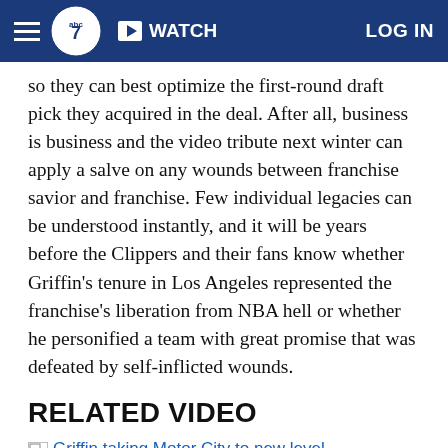ABC7 — WATCH | LOG IN
so they can best optimize the first-round draft pick they acquired in the deal. After all, business is business and the video tribute next winter can apply a salve on any wounds between franchise savior and franchise. Few individual legacies can be understood instantly, and it will be years before the Clippers and their fans know whether Griffin's tenure in Los Angeles represented the franchise's liberation from NBA hell or whether he personified a team with great promise that was defeated by self-inflicted wounds.
RELATED VIDEO
Griffin taking Motor City to new level
Griffin taking Motor City to new level